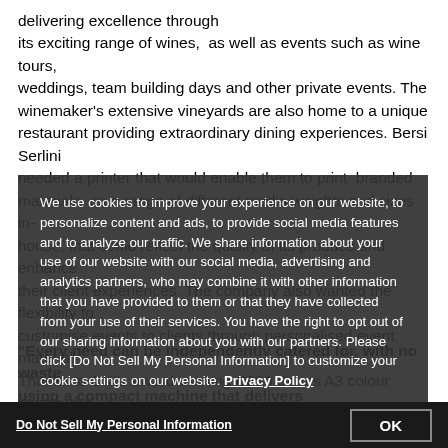delivering excellence through its exciting range of wines, as well as events such as wine tours, weddings, team building days and other private events. The winemaker's extensive vineyards are also home to a unique restaurant providing extraordinary dining experiences. Bersi Serlini needed a printer that would enable them to print branded materials, on a range of different media weights and sizes in-house, that could reflect the quality of its produce and enhance their client experiences. The company also wanted the flexibility to customise events to clients through personalised event material. Thanks to OKI's award winning C800 Series A3 colour printer, the winemaker has achieved all this, creating and printing everything from custom wine labels and bottle collars, to reusable waterproof placemats, leaflets, brochures and more, all to a professional print quality, with full colour expression. The printer is also able to print on a huge variety of media types including banners, and can easily print to personalised card, enabling custom white label experiences for all guests.
We use cookies to improve your experience on our website, to personalize content and ads, to provide social media features and to analyze our traffic. We share information about your use of our website with our social media, advertising and analytics partners, who may combine it with other information that you have provided to them or that they have collected from your use of their services. You have the right to opt out of our sharing information about you with our partners. Please click [Do Not Sell My Personal Information] to customize your cookie settings on our website. Privacy Policy
"Every need can be independently catered for, with no waste, using a compact machine that delivers
Do Not Sell My Personal Information    OK